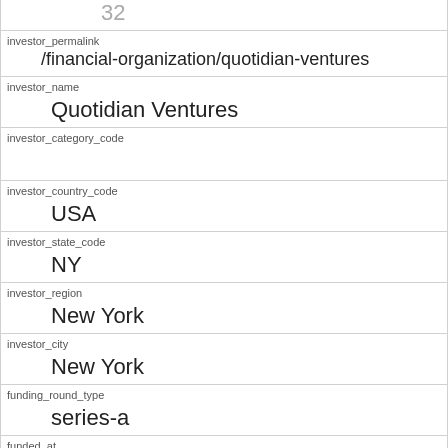| 32 |
| investor_permalink | /financial-organization/quotidian-ventures |
| investor_name | Quotidian Ventures |
| investor_category_code |  |
| investor_country_code | USA |
| investor_state_code | NY |
| investor_region | New York |
| investor_city | New York |
| funding_round_type | series-a |
| funded_at | 1351728000 |
| funded_year | 2012 |